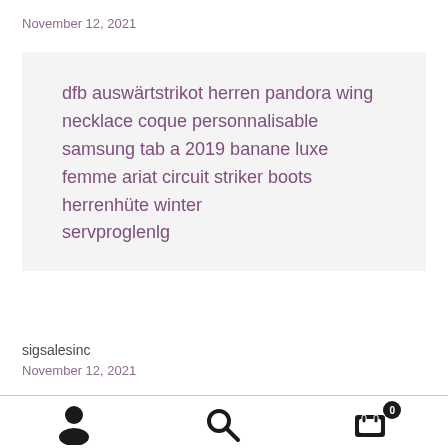November 12, 2021
dfb auswürtstrikot herren pandora wing necklace coque personnalisable samsung tab a 2019 banane luxe femme ariat circuit striker boots herrenhüte winter servproglenlg
sigsalesinc
November 12, 2021